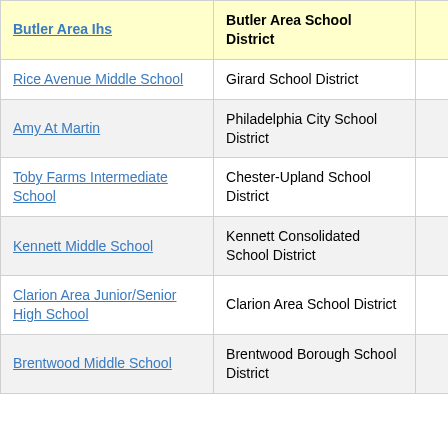| School | District | Grades | Value |
| --- | --- | --- | --- |
| Butler Area Ihs | Butler Area School District | 7-9 | -3. |
| Rice Avenue Middle School | Girard School District | 5-8 | 0. |
| Amy At Martin | Philadelphia City School District | 6-8 | 0. |
| Toby Farms Intermediate School | Chester-Upland School District | 5-8 | 0. |
| Kennett Middle School | Kennett Consolidated School District | 6-8 | 0. |
| Clarion Area Junior/Senior High School | Clarion Area School District | 7-11 | 0. |
| Brentwood Middle School | Brentwood Borough School District | 6-8 | 0. |